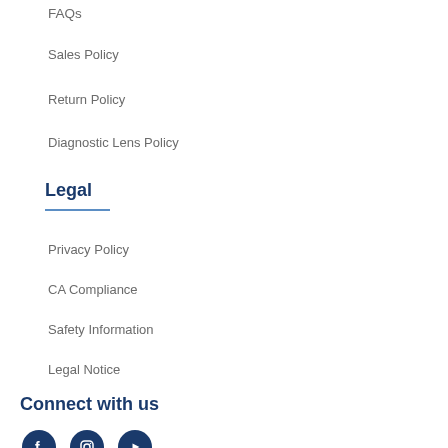FAQs
Sales Policy
Return Policy
Diagnostic Lens Policy
Legal
Privacy Policy
CA Compliance
Safety Information
Legal Notice
Connect with us
[Figure (illustration): Three social media icon circles: Facebook, Instagram, YouTube]